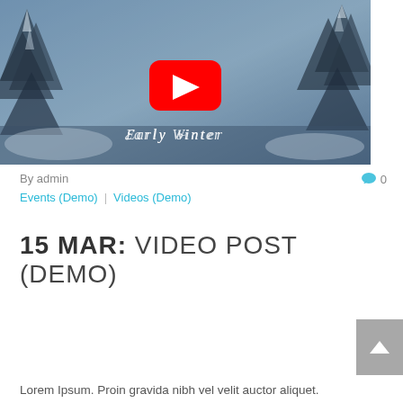[Figure (screenshot): YouTube video thumbnail showing an aerial winter scene with snow-covered trees. A YouTube play button (red rounded rectangle with white triangle) is centered. Text 'Early Winter' in stylized italic script appears at the bottom of the thumbnail.]
By admin
0
Events (Demo) | Videos (Demo)
15 MAR: VIDEO POST (DEMO)
Lorem Ipsum. Proin gravida nibh vel velit auctor aliquet.